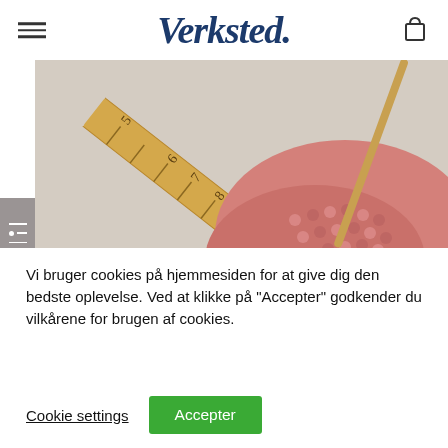Verksted.
[Figure (photo): Close-up photo of pink crochet/knitting work next to a wooden ruler showing measurements from approximately 5 to 10, with a wooden knitting needle visible in the background on a light surface.]
Vi bruger cookies på hjemmesiden for at give dig den bedste oplevelse. Ved at klikke på "Accepter" godkender du vilkårene for brugen af cookies.
Cookie settings
Accepter